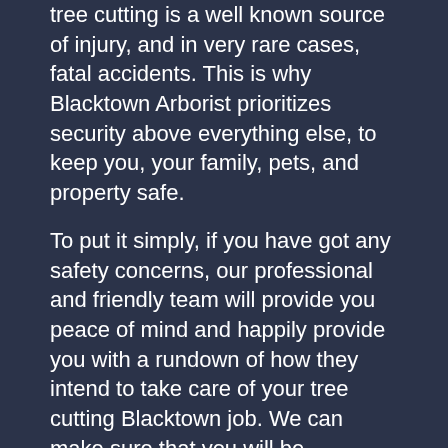tree cutting is a well known source of injury, and in very rare cases, fatal accidents. This is why Blacktown Arborist prioritizes security above everything else, to keep you, your family, pets, and property safe.
To put it simply, if you have got any safety concerns, our professional and friendly team will provide you peace of mind and happily provide you with a rundown of how they intend to take care of your tree cutting Blacktown job. We can make sure that you will be wholeheartedly happy with the results by the time we are done. We're considerate, tidy, quick, and thorough.
Request a Quote
✉ CONTACT US   ✆ 0480 024 203